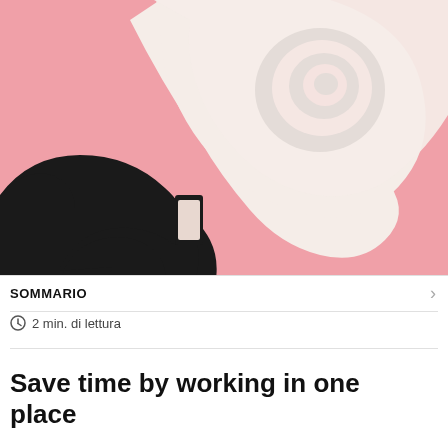[Figure (illustration): An abstract illustration on a pink background showing a black silhouette of a snail-like shape combined with a scroll of paper. The paper scroll is white/cream colored and has a pink ring/circle motif. The snail body is black and curled, set against a pink (#f0a0a8) background.]
SOMMARIO
2 min. di lettura
Save time by working in one place